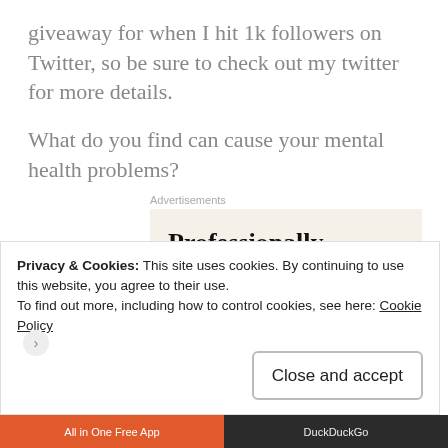giveaway for when I hit 1k followers on Twitter, so be sure to check out my twitter for more details.
What do you find can cause your mental health problems?
Advertisements
[Figure (screenshot): Advertisement for a website building service. Beige background with bold text reading 'Professionally designed sites in less than a week', a green 'Explore options' button, and a partial image of a device/website on the right.]
Privacy & Cookies: This site uses cookies. By continuing to use this website, you agree to their use.
To find out more, including how to control cookies, see here: Cookie Policy
Close and accept